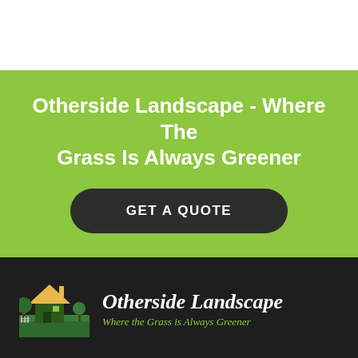Otherside Landscape - Where The Grass Is Always Greener
GET A QUOTE
[Figure (logo): Otherside Landscape logo with house and green landscaping graphic]
Otherside Landscape — Where the Grass is Always Greener
Where the grass is always greener. Request a free quote today. We look forward to working with you.